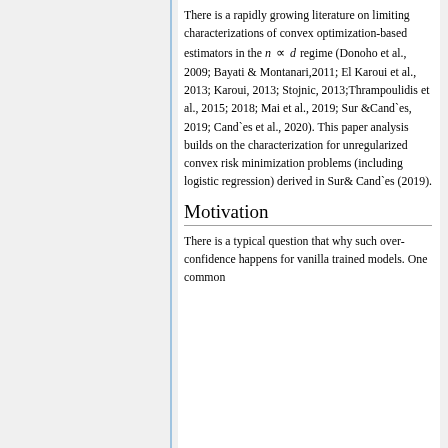There is a rapidly growing literature on limiting characterizations of convex optimization-based estimators in the n ∝ d regime (Donoho et al., 2009; Bayati & Montanari,2011; El Karoui et al., 2013; Karoui, 2013; Stojnic, 2013;Thrampoulidis et al., 2015; 2018; Mai et al., 2019; Sur &Cand`es, 2019; Cand`es et al., 2020). This paper analysis builds on the characterization for unregularized convex risk minimization problems (including logistic regression) derived in Sur& Cand`es (2019).
Motivation
There is a typical question that why such over-confidence happens for vanilla trained models. One common